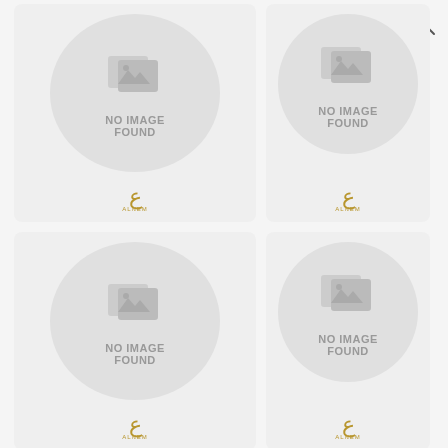[Figure (screenshot): A grid of product/item cards showing 'NO IMAGE FOUND' placeholders with a circular gray background and a generic image icon. Each card has a small Arabic-script logo at the bottom. A search icon is visible in the top right. Six cards visible (4 full, 2 partial at bottom).]